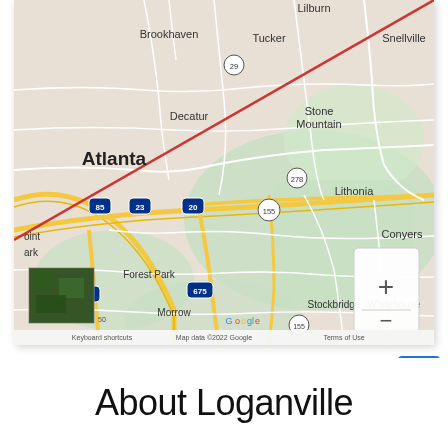[Figure (map): Google Maps view showing Atlanta metro area including Brookhaven, Tucker, Snellville, Stone Mountain, Decatur, Atlanta, Lithonia, Forest Park, Morrow, Conyers, Stockbridge, Whitehouse. Shows interstate highways 85, 23, 20, 278, 155, 75, 675. A red diagonal line runs from upper right to lower left across the map. Map controls (+ and -) visible in lower right. Satellite thumbnail in lower left corner. Footer shows: Keyboard shortcuts, Map data ©2022 Google, Terms of Use.]
About Loganville